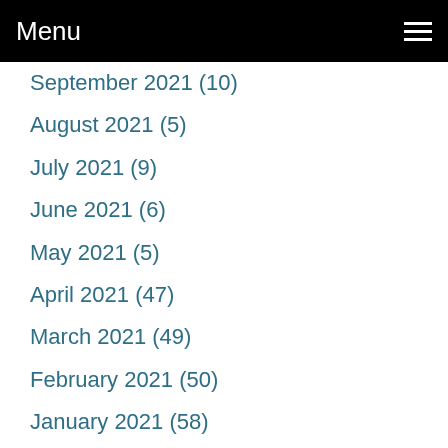Menu
September 2021 (10)
August 2021 (5)
July 2021 (9)
June 2021 (6)
May 2021 (5)
April 2021 (47)
March 2021 (49)
February 2021 (50)
January 2021 (58)
December 2020 (62)
November 2020 (53)
October 2020 (31)
September 2020 (36)
August 2020 (26)